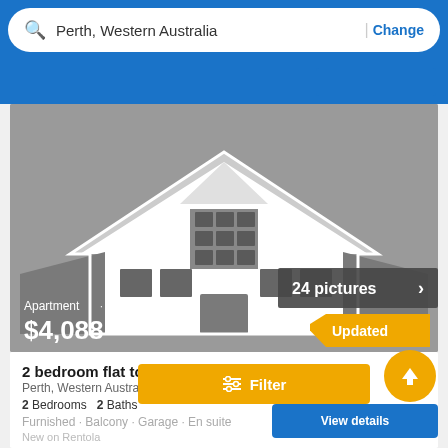Perth, Western Australia | Change
[Figure (illustration): House illustration placeholder image with 24 pictures badge, showing an apartment for rent at $4,088 with Updated badge]
2 bedroom flat to let - Furnished
Perth, Western Australia
2 Bedrooms   2 Baths
Furnished · Balcony · Garage · En suite
New on Rentola
Filter
View details